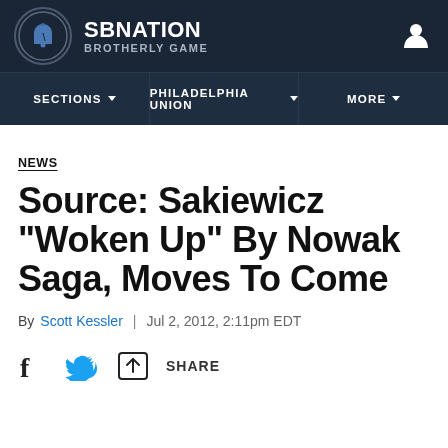SB NATION BROTHERLY GAME
NEWS
Source: Sakiewicz "Woken Up" By Nowak Saga, Moves To Come
By Scott Kessler | Jul 2, 2012, 2:11pm EDT
SHARE